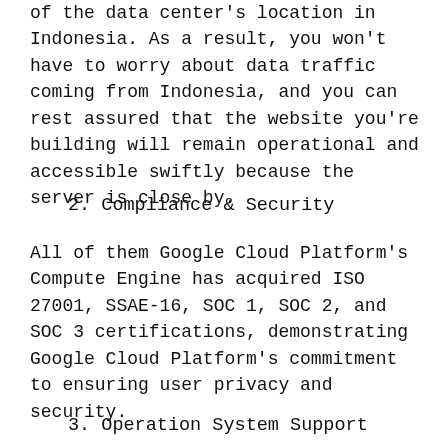of the data center's location in Indonesia. As a result, you won't have to worry about data traffic coming from Indonesia, and you can rest assured that the website you're building will remain operational and accessible swiftly because the server is close by.
2. Compliance & Security
All of them Google Cloud Platform's Compute Engine has acquired ISO 27001, SSAE-16, SOC 1, SOC 2, and SOC 3 certifications, demonstrating Google Cloud Platform's commitment to ensuring user privacy and security.
3. Operation System Support